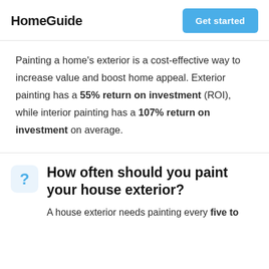HomeGuide
Painting a home's exterior is a cost-effective way to increase value and boost home appeal. Exterior painting has a 55% return on investment (ROI), while interior painting has a 107% return on investment on average.
How often should you paint your house exterior?
A house exterior needs painting every five to